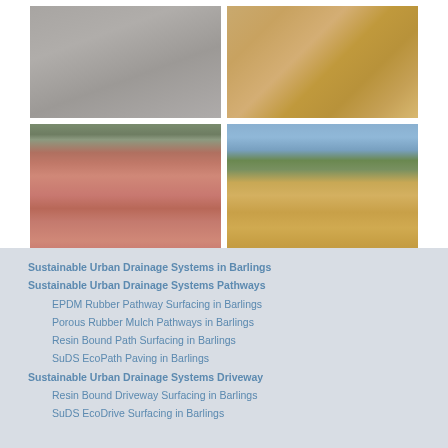[Figure (photo): Top-left: Close-up of dark gray gravel/rubber surfacing]
[Figure (photo): Top-right: Close-up of sandy golden gravel/resin bound surfacing]
[Figure (photo): Bottom-left: Red/pink resin bound gravel driveway in front of brick garage with white doors]
[Figure (photo): Bottom-right: Golden resin bound gravel pathway leading through green garden toward house]
Sustainable Urban Drainage Systems in Barlings
Sustainable Urban Drainage Systems Pathways
EPDM Rubber Pathway Surfacing in Barlings
Porous Rubber Mulch Pathways in Barlings
Resin Bound Path Surfacing in Barlings
SuDS EcoPath Paving in Barlings
Sustainable Urban Drainage Systems Driveway
Resin Bound Driveway Surfacing in Barlings
SuDS EcoDrive Surfacing in Barlings